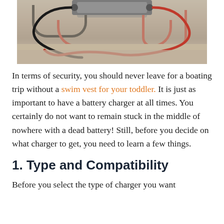[Figure (photo): Photo of a battery charger device on a concrete floor with red and black wires spread out]
In terms of security, you should never leave for a boating trip without a swim vest for your toddler. It is just as important to have a battery charger at all times. You certainly do not want to remain stuck in the middle of nowhere with a dead battery! Still, before you decide on what charger to get, you need to learn a few things.
1. Type and Compatibility
Before you select the type of charger you want